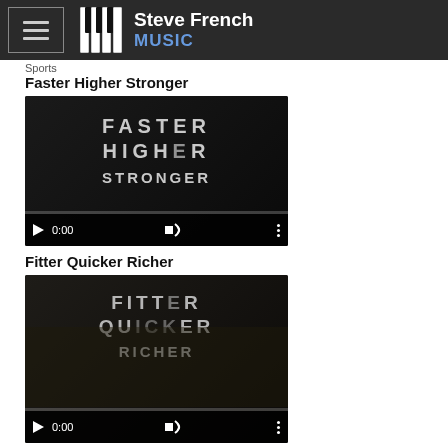Steve French MUSIC
Sports
Faster Higher Stronger
[Figure (screenshot): Video thumbnail for 'Faster Higher Stronger' showing dark title card with the words FASTER HIGHER STRONGER in large block letters, with video player controls showing 0:00]
Fitter Quicker Richer
[Figure (screenshot): Video thumbnail for 'Fitter Quicker Richer' showing dark title card with the words FITTER QUICKER RICHER in large block letters with musicians, with video player controls showing 0:00]